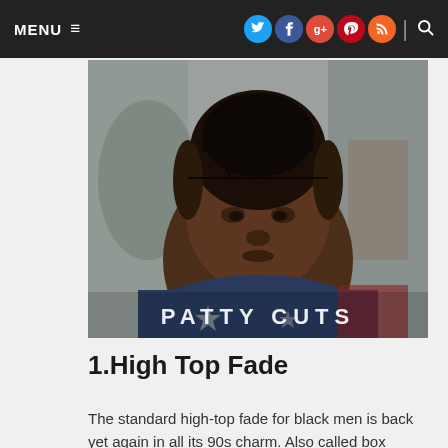MENU ☰  [social icons: Twitter, Facebook, Google+, Pinterest, RSS]  | 🔍
[Figure (photo): A young Black man at a barbershop getting a high top fade haircut, wearing a dark patterned barber cape with stars. The text 'PATTY CUTS' appears overlaid at the bottom of the image.]
1.High Top Fade
The standard high-top fade for black men is back yet again in all its 90s charm. Also called box fade,